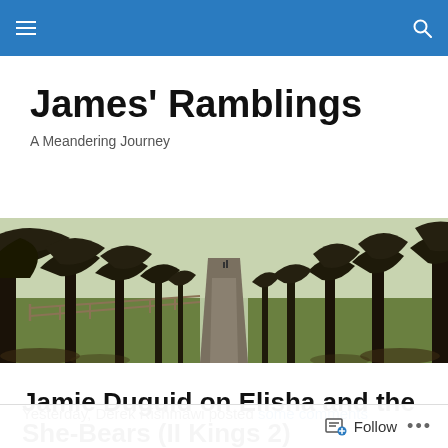Navigation bar with menu and search icons
James' Ramblings
A Meandering Journey
[Figure (photo): Wide panoramic photo of a tree-lined avenue path leading into the distance, with sunlit grass and bare winter trees on both sides, and a wooden fence on the left]
Jamie Duguid on Elisha and the She-Bears (II Kings 2)
Yesterday, Derek Rishmawi posted some comments
Follow button and options menu